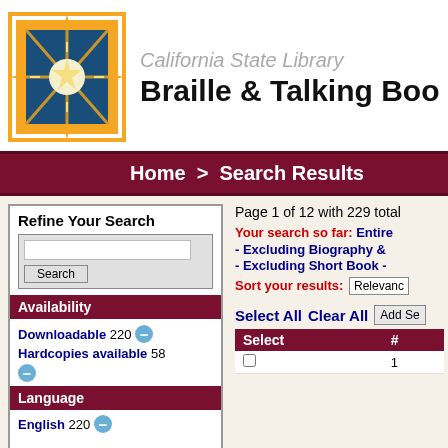[Figure (logo): California State Library star logo in orange/gold border with blue background]
California State Library Braille & Talking Boo
Home > Search Results
Refine Your Search
Page 1 of 12 with 229 total
Your search so far: Entire - Excluding Biography & A - Excluding Short Book -
Sort your results: Relevance
Availability
Downloadable 220
Hardcopies available 58
Language
English 220
Select All Clear All
| Select | # |
| --- | --- |
|  | 1 |